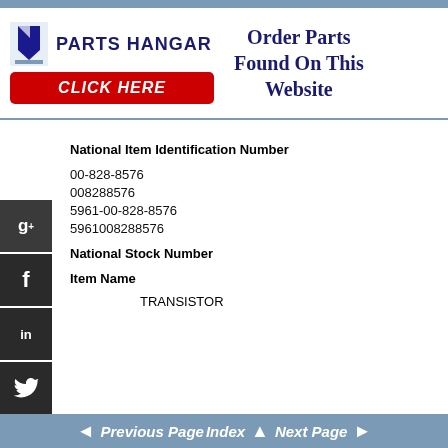[Figure (logo): Parts Hangar logo with stylized P icon and company name, plus red CLICK HERE button]
Order Parts Found On This Website
National Item Identification Number
00-828-8576
008288576
5961-00-828-8576
5961008288576
National Stock Number
Item Name
TRANSISTOR
Previous Page  Index  Next Page